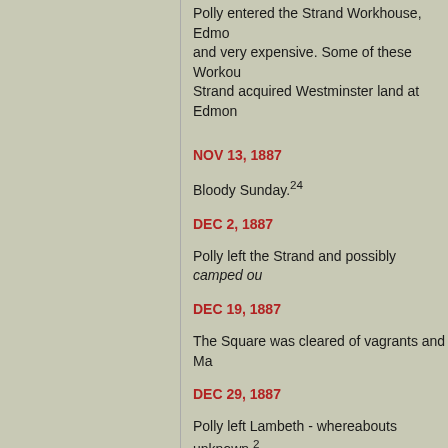Polly entered the Strand Workhouse, Edmo and very expensive. Some of these Workhou Strand acquired Westminster land at Edmon
NOV 13, 1887
Bloody Sunday.24
DEC 2, 1887
Polly left the Strand and possibly camped ou
DEC 19, 1887
The Square was cleared of vagrants and Ma
DEC 29, 1887
Polly left Lambeth - whereabouts unknown.2
JAN 4, 1888